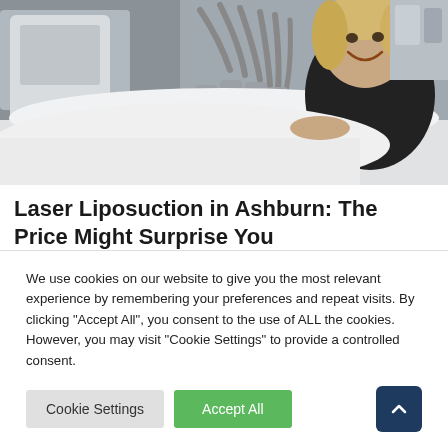[Figure (photo): A smiling woman lying on a medical treatment bed with a body contouring/laser liposuction machine with multiple applicator arms attached around her torso. The setting appears to be a medical spa or clinic.]
Laser Liposuction in Ashburn: The Price Might Surprise You
We use cookies on our website to give you the most relevant experience by remembering your preferences and repeat visits. By clicking "Accept All", you consent to the use of ALL the cookies. However, you may visit "Cookie Settings" to provide a controlled consent.